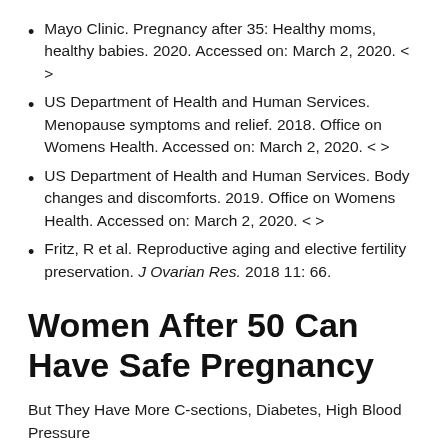Mayo Clinic. Pregnancy after 35: Healthy moms, healthy babies. 2020. Accessed on: March 2, 2020. < >
US Department of Health and Human Services. Menopause symptoms and relief. 2018. Office on Womens Health. Accessed on: March 2, 2020. < >
US Department of Health and Human Services. Body changes and discomforts. 2019. Office on Womens Health. Accessed on: March 2, 2020. < >
Fritz, R et al. Reproductive aging and elective fertility preservation. J Ovarian Res. 2018 11: 66.
Women After 50 Can Have Safe Pregnancy
But They Have More C-sections, Diabetes, High Blood Pressure